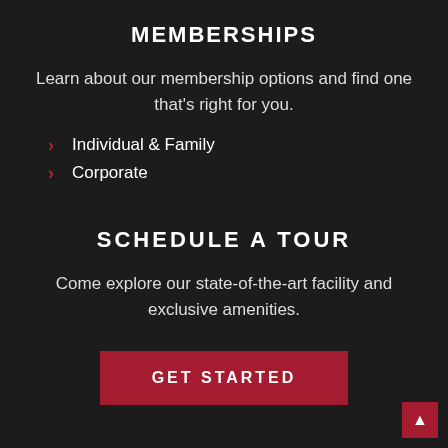MEMBERSHIPS
Learn about our membership options and find one that's right for you.
Individual & Family
Corporate
SCHEDULE A TOUR
Come explore our state-of-the-art facility and exclusive amenities.
GET STARTED